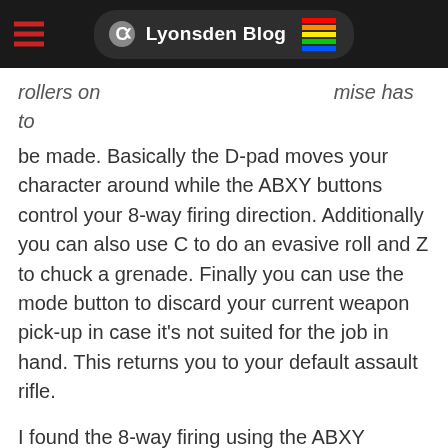Lyonsden Blog
be made. Basically the D-pad moves your character around while the ABXY buttons control your 8-way firing direction. Additionally you can also use C to do an evasive roll and Z to chuck a grenade. Finally you can use the mode button to discard your current weapon pick-up in case it's not suited for the job in hand. This returns you to your default assault rifle.
I found the 8-way firing using the ABXY buttons took a lot of getting used to. This lead to a lot of unnecessary deaths whilst I was fumbling to press the correct directional button. You can play the game on a 3 button controller too but I don't own one so have been unable to test how it plays with this type of pad.